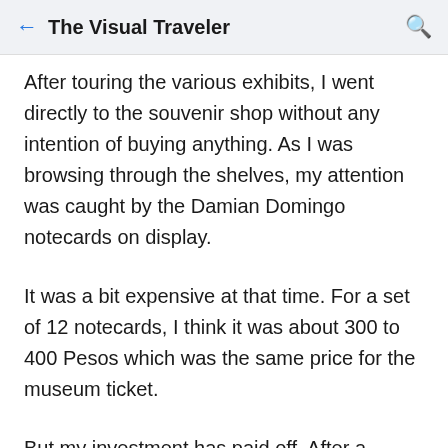The Visual Traveler
After touring the various exhibits, I went directly to the souvenir shop without any intention of buying anything. As I was browsing through the shelves, my attention was caught by the Damian Domingo notecards on display.
It was a bit expensive at that time. For a set of 12 notecards, I think it was about 300 to 400 Pesos which was the same price for the museum ticket.
But my investment has paid off. After a decade, the price of the notecards has doubled. My only regret was